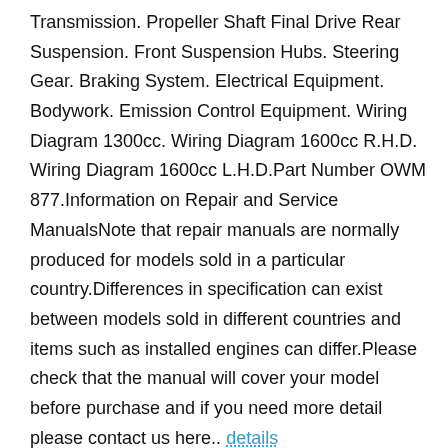Transmission. Propeller Shaft Final Drive Rear Suspension. Front Suspension Hubs. Steering Gear. Braking System. Electrical Equipment. Bodywork. Emission Control Equipment. Wiring Diagram 1300cc. Wiring Diagram 1600cc R.H.D. Wiring Diagram 1600cc L.H.D.Part Number OWM 877.Information on Repair and Service ManualsNote that repair manuals are normally produced for models sold in a particular country.Differences in specification can exist between models sold in different countries and items such as installed engines can differ.Please check that the manual will cover your model before purchase and if you need more detail please contact us here.. details